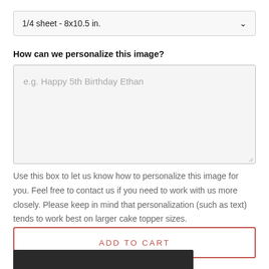1/4 sheet - 8x10.5 in.
How can we personalize this image?
e.g. Happy 5th Birthday Ethan
Use this box to let us know how to personalize this image for you. Feel free to contact us if you need to work with us more closely. Please keep in mind that personalization (such as text) tends to work best on larger cake topper sizes.
ADD TO CART